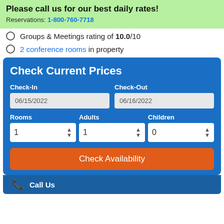Please call us for our best daily rates!
Reservations: 1-800-760-7718
Groups & Meetings rating of 10.0/10
2 conference rooms in property
Check Current Prices
Check-In: 06/15/2022, Check-Out: 06/16/2022, Rooms: 1, Adults: 1, Children: 0
Check Availability
Call Us